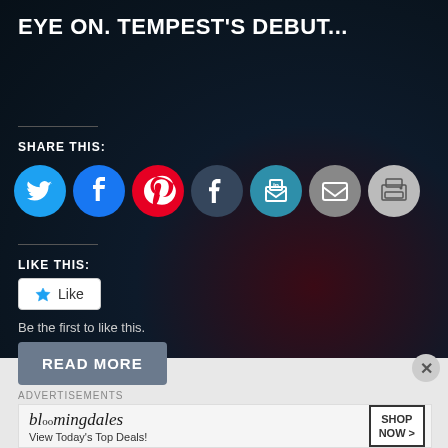EYE ON. TEMPEST'S DEBUT...
SHARE THIS:
[Figure (screenshot): Row of social sharing icon buttons: Twitter (blue), Facebook (blue), Pinterest (red), Tumblr (dark), LinkedIn (teal), Email (gray), Print (light gray)]
LIKE THIS:
Like
Be the first to like this.
READ MORE
[Figure (screenshot): Bloomingdale's advertisement banner: 'bloomingdales View Today's Top Deals!' with woman in hat and 'SHOP NOW >' button]